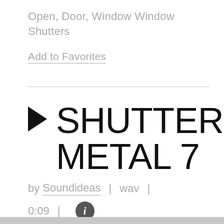Open, Door, Window Window Shutters
Add to Favorites
SHUTTER, METAL 7
by Soundideas | wav | 0:09 |